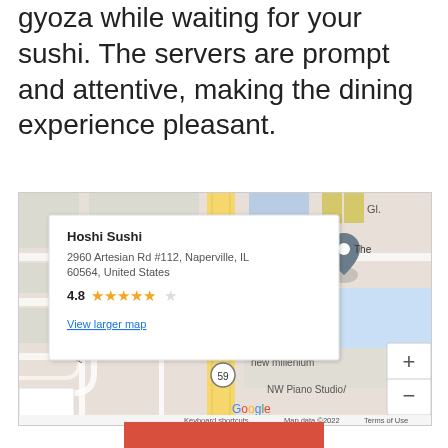gyoza while waiting for your sushi. The servers are prompt and attentive, making the dining experience pleasant.
[Figure (map): Google Maps screenshot showing Hoshi Sushi at 2960 Artesian Rd #112, Naperville, IL 60564. Popup shows 4.8 star rating. Map includes streets: Arrowhead Dr, Palmer Cir, Route 59. Nearby: new millenium, NW Piano Studio. Red location pin marks Hoshi Sushi. Google branding and map controls visible.]